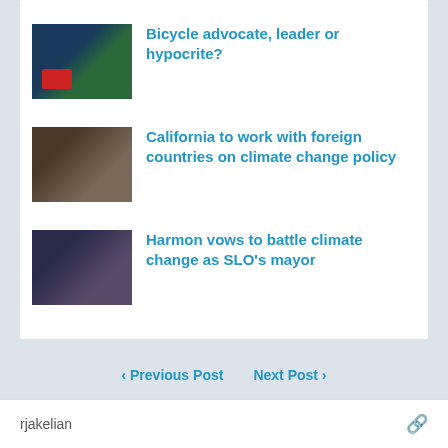Bicycle advocate, leader or hypocrite?
California to work with foreign countries on climate change policy
Harmon vows to battle climate change as SLO’s mayor
‹ Previous Post   Next Post ›
rjakelian